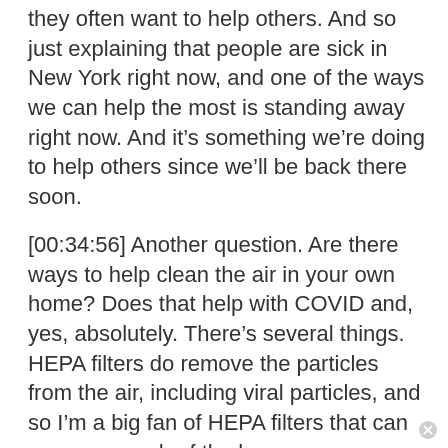they often want to help others. And so just explaining that people are sick in New York right now, and one of the ways we can help the most is standing away right now. And it’s something we’re doing to help others since we’ll be back there soon.
[00:34:56] Another question. Are there ways to help clean the air in your own home? Does that help with COVID and, yes, absolutely. There’s several things. HEPA filters do remove the particles from the air, including viral particles, and so I’m a big fan of HEPA filters that can cover as much of the house as you can.  HEPA filter vacuum cleaners.